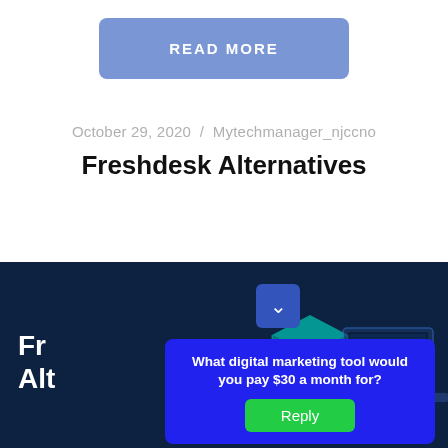[Figure (other): Blue/purple 'READ MORE' button]
October 29, 2020  /  Mytechmanager_njccno
Freshdesk Alternatives
[Figure (screenshot): Dark blue banner with partial 'Freshdesk Alternatives' text, teal isometric graphic, laptop graphic, a blue popup overlay asking 'What digital marketing tool would you pay $30 a month for?' with a green Reply button and a chevron box]
What digital marketing tool would you pay $30 a month for?
Reply